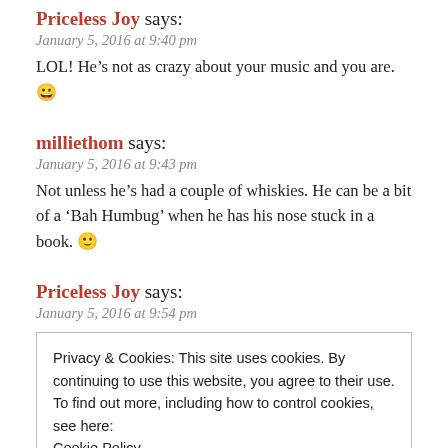Priceless Joy says:
January 5, 2016 at 9:40 pm
LOL! He’s not as crazy about your music and you are. 😀
milliethom says:
January 5, 2016 at 9:43 pm
Not unless he's had a couple of whiskies. He can be a bit of a ‘Bah Humbug’ when he has his nose stuck in a book. 🙂
Priceless Joy says:
January 5, 2016 at 9:54 pm
Privacy & Cookies: This site uses cookies. By continuing to use this website, you agree to their use.
To find out more, including how to control cookies, see here:
Cookie Policy
Close and accept
different to me. Nick is very adventurous in his music taste so I’ll